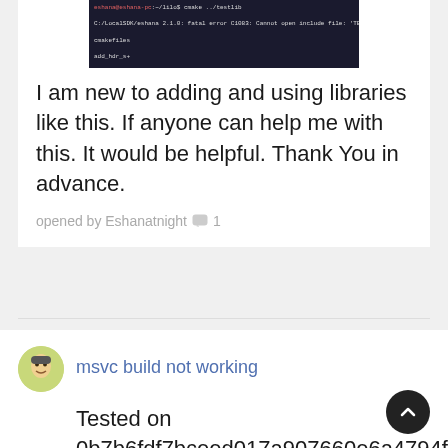[Figure (screenshot): Terminal/command prompt screenshot showing a build error on dark background with colored text lines]
I am new to adding and using libraries like this. If anyone can help me with this. It would be helpful. Thank You in advance.
opened by Eshanatnight 💬 1
msvc build not working
Tested on 0b7b6fdf7bceed017a907660e6a4794fe74a29db under windows 10, visual studio 2019.
If I run